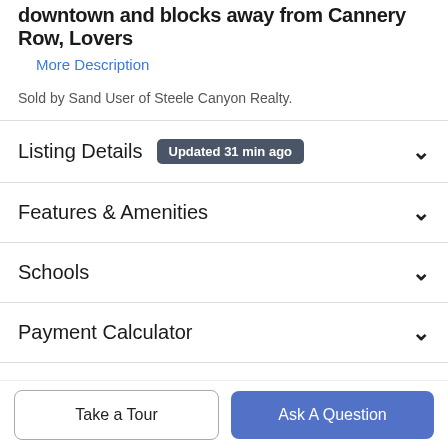downtown and blocks away from Cannery Row, Lovers
More Description
Sold by Sand User of Steele Canyon Realty.
Listing Details  Updated 31 min ago
Features & Amenities
Schools
Payment Calculator
Contact Agent
Take a Tour
Ask A Question